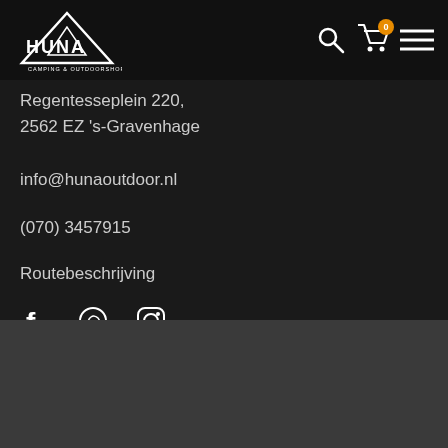[Figure (logo): HUNA Camping & Outdoorshop logo with mountain/tent triangle graphic in white on dark background]
Regentesseplein 220,
2562 EZ 's-Gravenhage
info@hunaoutdoor.nl
(070) 3457915
Routebeschrijving
[Figure (illustration): Social media icons: Facebook, WhatsApp, Instagram]
We use cookies to ensure that we give you the best experience on our website. If you continue to use this site we will assume that you are happy with it.
Ok